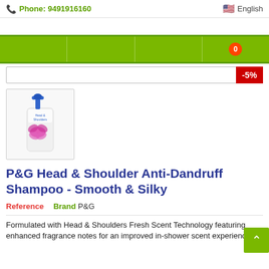Phone: 9491916160   English
[Figure (screenshot): Green navigation bar with 4 cells, last cell has red circular badge showing 0]
[Figure (photo): Head & Shoulders Anti-Dandruff Shampoo bottle with blue pump cap and pink flower design]
P&G Head & Shoulder Anti-Dandruff Shampoo - Smooth & Silky
Reference   Brand P&G
Formulated with Head & Shoulders Fresh Scent Technology featuring enhanced fragrance notes for an improved in-shower scent experience.